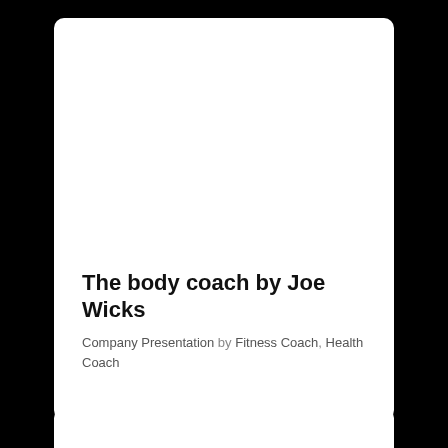The body coach by Joe Wicks
Company Presentation by Fitness Coach, Health Coach